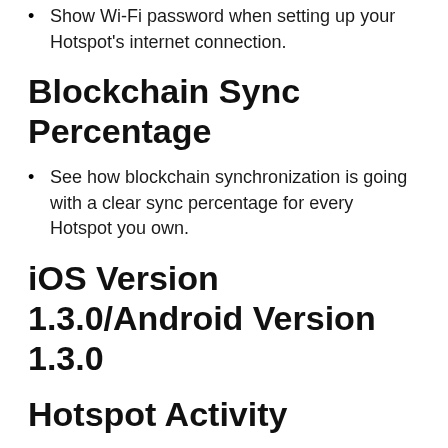Show Wi-Fi password when setting up your Hotspot's internet connection.
Blockchain Sync Percentage
See how blockchain synchronization is going with a clear sync percentage for every Hotspot you own.
iOS Version 1.3.0/Android Version 1.3.0
Hotspot Activity
Did you see your Hotspot participate in a challenge and want to explore further? Now you can view more by tapping the challenge number or block number to see what happened.
More Miner data